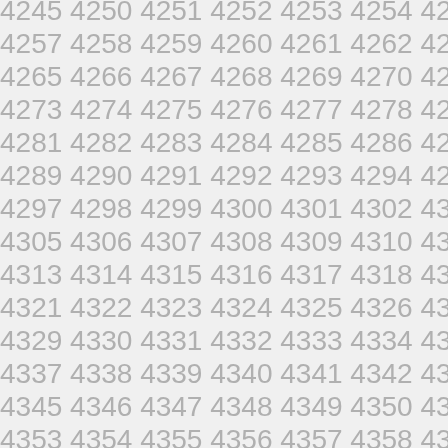4245 4250 4251 4252 4253 4254 4255 4256
4257 4258 4259 4260 4261 4262 4263 4264
4265 4266 4267 4268 4269 4270 4271 4272
4273 4274 4275 4276 4277 4278 4279 4280
4281 4282 4283 4284 4285 4286 4287 4288
4289 4290 4291 4292 4293 4294 4295 4296
4297 4298 4299 4300 4301 4302 4303 4304
4305 4306 4307 4308 4309 4310 4311 4312
4313 4314 4315 4316 4317 4318 4319 4320
4321 4322 4323 4324 4325 4326 4327 4328
4329 4330 4331 4332 4333 4334 4335 4336
4337 4338 4339 4340 4341 4342 4343 4344
4345 4346 4347 4348 4349 4350 4351 4352
4353 4354 4355 4356 4357 4358 4359 4360